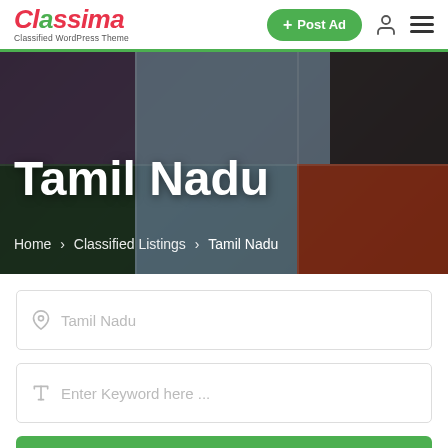Classima — Classified WordPress Theme | + Post Ad
[Figure (photo): Hero banner collage of classified listing images including people, city, car, phone, food]
Tamil Nadu
Home > Classified Listings > Tamil Nadu
Tamil Nadu (location input field)
Enter Keyword here ... (keyword input field)
Search (button)